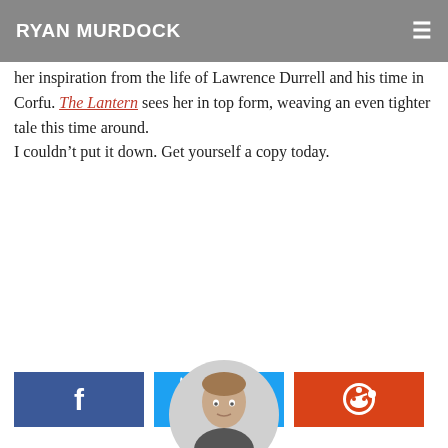RYAN MURDOCK
her inspiration from the life of Lawrence Durrell and his time in Corfu. The Lantern sees her in top form, weaving an even tighter tale this time around.
I couldn't put it down. Get yourself a copy today.
[Figure (infographic): Three social share buttons: Facebook (dark blue), Twitter (light blue), Reddit (orange-red)]
[Figure (photo): Circular author photo showing a man's face and shoulders]